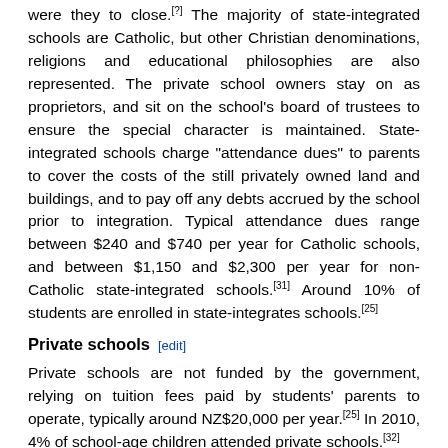were they to close.[?] The majority of state-integrated schools are Catholic, but other Christian denominations, religions and educational philosophies are also represented. The private school owners stay on as proprietors, and sit on the school's board of trustees to ensure the special character is maintained. State-integrated schools charge "attendance dues" to parents to cover the costs of the still privately owned land and buildings, and to pay off any debts accrued by the school prior to integration. Typical attendance dues range between $240 and $740 per year for Catholic schools, and between $1,150 and $2,300 per year for non-Catholic state-integrated schools.[31] Around 10% of students are enrolled in state-integrates schools.[25]
Private schools [edit]
Private schools are not funded by the government, relying on tuition fees paid by students' parents to operate, typically around NZ$20,000 per year.[25] In 2010, 4% of school-age children attended private schools.[32]
Alternative schooling [edit]
Charter schools in New Zealand were state-funded